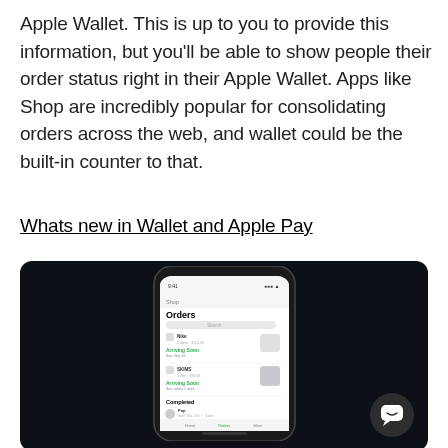Apple Wallet. This is up to you to provide this information, but you'll be able to show people their order status right in their Apple Wallet. Apps like Shop are incredibly popular for consolidating orders across the web, and wallet could be the built-in counter to that.
Whats new in Wallet and Apple Pay
[Figure (screenshot): Dark background panel showing a smartphone mockup displaying a Shop app Orders screen with order tracking items listed, including 'Arriving Soon' statuses and a 'Completed' section. A chat/support button icon is visible in the bottom right corner of the dark panel.]